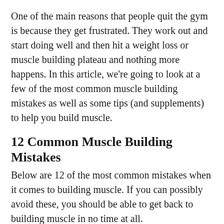One of the main reasons that people quit the gym is because they get frustrated. They work out and start doing well and then hit a weight loss or muscle building plateau and nothing more happens. In this article, we're going to look at a few of the most common muscle building mistakes as well as some tips (and supplements) to help you build muscle.
12 Common Muscle Building Mistakes
Below are 12 of the most common mistakes when it comes to building muscle. If you can possibly avoid these, you should be able to get back to building muscle in no time at all.
Not having a plan
In order to effectively build muscle, you need to have a plan in place. A careful, well thought out approach is